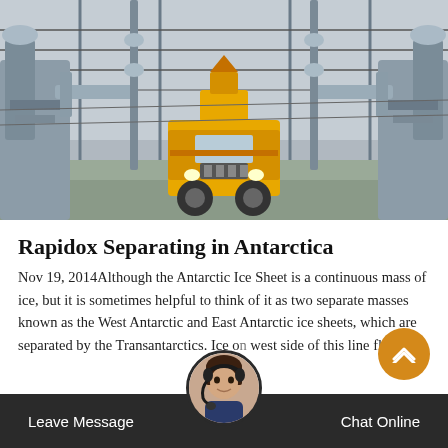[Figure (photo): A yellow utility/maintenance truck driving between large electrical substation equipment (transformers, insulators, high-voltage lines) in an outdoor industrial setting.]
Rapidox Separating in Antarctica
Nov 19, 2014Although the Antarctic Ice Sheet is a continuous mass of ice, but it is sometimes helpful to think of it as two separate masses known as the West Antarctic and East Antarctic ice sheets, which are separated by the Transantarctics. Ice on the west side of this line flows we... le the opposite happens east of the divide...
Leave Message   Chat Online